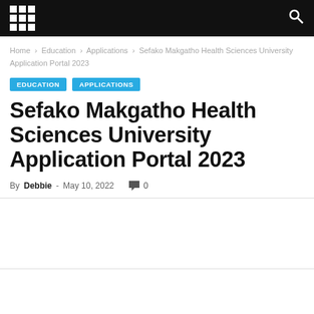Home › Education › Applications › Sefako Makgatho Health Sciences University Application Portal 2023
EDUCATION   APPLICATIONS
Sefako Makgatho Health Sciences University Application Portal 2023
By Debbie - May 10, 2022   0